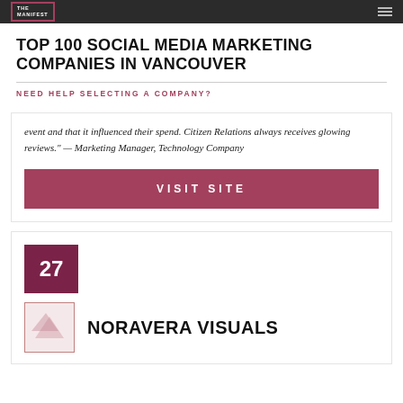THE MANIFEST
TOP 100 SOCIAL MEDIA MARKETING COMPANIES IN VANCOUVER
NEED HELP SELECTING A COMPANY?
event and that it influenced their spend. Citizen Relations always receives glowing reviews." — Marketing Manager, Technology Company
VISIT SITE
27
NORAVERA VISUALS